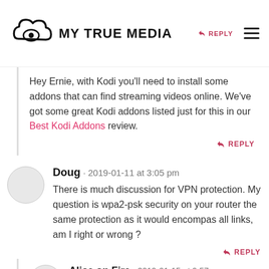MY TRUE MEDIA
Hey Ernie, with Kodi you'll need to install some addons that can find streaming videos online. We've got some great Kodi addons listed just for this in our Best Kodi Addons review.
REPLY
Doug · 2019-01-11 at 3:05 pm
There is much discussion for VPN protection. My question is wpa2-psk security on your router the same protection as it would encompas all links, am I right or wrong ?
REPLY
Alice on Fire · 2019-01-15 at 9:57 am
Hi Doug, WPA2 only encrypts your own local WiFi